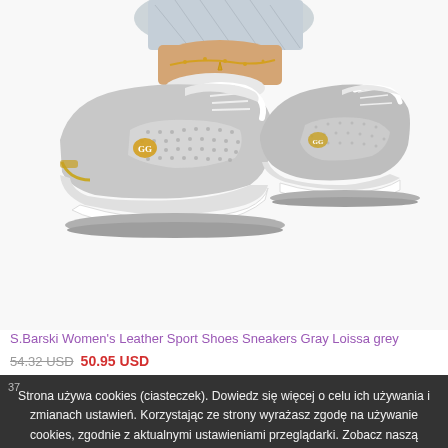[Figure (photo): Gray women's leather sport sneakers/shoes with wedge sole, white laces, gold GG logo badge, perforated mesh panel, worn on a person's feet with light jeans and gold ankle chain jewelry, photographed on white background.]
S.Barski Women's Leather Sport Shoes Sneakers Gray Loissa grey
54.32 USD 50.95 USD
37 Strona używa cookies (ciasteczek). Dowiedz się więcej o celu ich używania i zmianach ustawień. Korzystając ze strony wyrażasz zgodę na używanie cookies, zgodnie z aktualnymi ustawieniami przeglądarki. Zobacz naszą politykę prywatności.